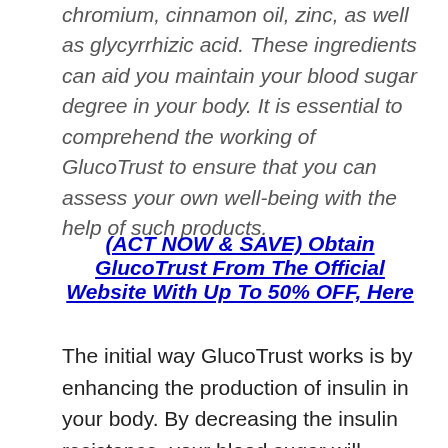chromium, cinnamon oil, zinc, as well as glycyrrhizic acid. These ingredients can aid you maintain your blood sugar degree in your body. It is essential to comprehend the working of GlucoTrust to ensure that you can assess your own well-being with the help of such products.
(ACT NOW & SAVE) Obtain GlucoTrust From The Official Website With Up To 50% OFF, Here
The initial way GlucoTrust works is by enhancing the production of insulin in your body. By decreasing the insulin resistance, your blood sugar will break down and also be changed into energy much more successfully. Blood cells will absorb a lot more blood sugar, and it will not go straight into your blood stream. Similarly, the 2nd means